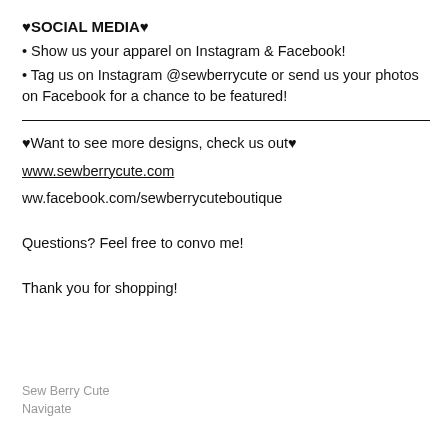♥SOCIAL MEDIA♥
• Show us your apparel on Instagram & Facebook!
• Tag us on Instagram @sewberrycute or send us your photos on Facebook for a chance to be featured!
♥Want to see more designs, check us out♥
www.sewberrycute.com
ww.facebook.com/sewberrycuteboutique
Questions? Feel free to convo me!
Thank you for shopping!
Sew Berry Cute
Navigate